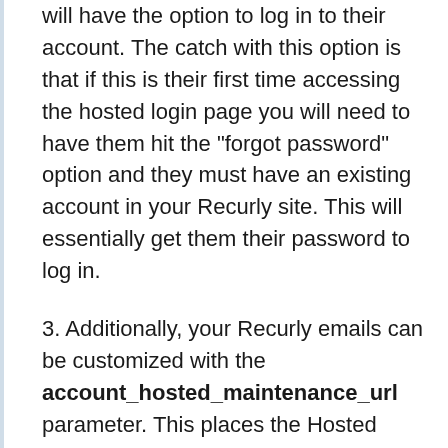will have the option to log in to their account. The catch with this option is that if this is their first time accessing the hosted login page you will need to have them hit the "forgot password" option and they must have an existing account in your Recurly site. This will essentially get them their password to log in.
3. Additionally, your Recurly emails can be customized with the account_hosted_maintenance_url parameter. This places the Hosted Account Management Login Token URL in the email that the customer can click on to enter their account directly.
More about our Hosted Account Management pages here.